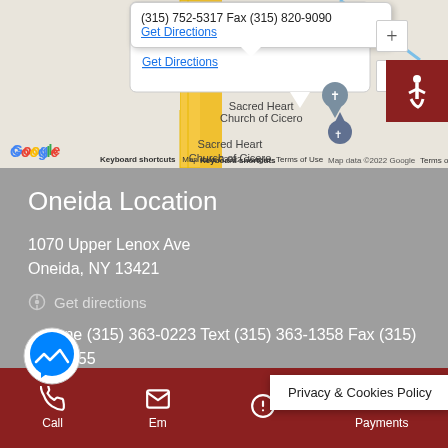[Figure (screenshot): Google Maps screenshot showing Sacred Heart Church of Cicero with a popup showing phone (315) 752-5317 / Fax (315) 820-9090 and Get Directions link. Map data ©2022 Google. Keyboard shortcuts and Terms of Use links visible.]
Oneida Location
1070 Upper Lenox Ave
Oneida, NY 13421
Get directions
Phone (315) 363-0223 Text (315) 363-1358 Fax (315) 363-1255
Call  Email  [Emergency]  Payments
Privacy & Cookies Policy